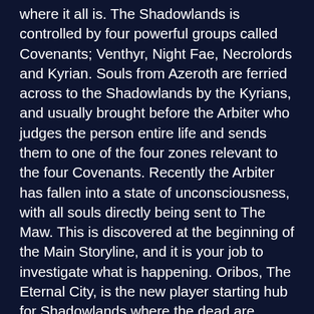where it all is. The Shadowlands is controlled by four powerful groups called Covenants; Venthyr, Night Fae, Necrolords and Kyrian. Souls from Azeroth are ferried across to the Shadowlands by the Kyrians, and usually brought before the Arbiter who judges the person entire life and sends them to one of the four zones relevant to the four Covenants. Recently the Arbiter has fallen into a state of unconsciousness, with all souls directly being sent to The Maw. This is discovered at the beginning of the Main Storyline, and it is your job to investigate what is happening. Oribos, The Eternal City, is the new player starting hub for Shadowlands where the dead are judged by the impassive Arbiter before being sent to their final destinations. The first quest takes you back to Icecrown Citadel (ICC), straight to the Frozen Throne.